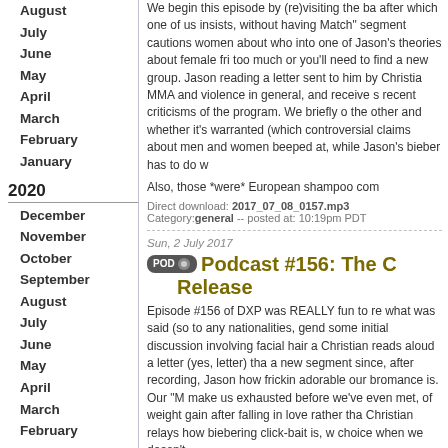August
July
June
May
April
March
February
January
2020
December
November
October
September
August
July
June
May
April
March
February
January
2019
December
November
October
September
August
July
June
May
April
We begin this episode by (re)visiting the ba... after which one of us insists, without having... Match" segment cautions women about who... into one of Jason's theories about female fri... too much or you'll need to find a new group... Jason reading a letter sent to him by Christia... MMA and violence in general, and receive s... recent criticisms of the program. We briefly o... the other and whether it's warranted (which... controversial claims about men and women... beeped at, while Jason's bieber has to do w...
Also, those *were* European shampoo com...
Direct download: 2017_07_08_0157.mp3
Category: general -- posted at: 10:19pm PDT
Sun, 2 July 2017
Podcast #156: The C... Release
Episode #156 of DXP was REALLY fun to re... what was said (so to any nationalities, gend... some initial discussion involving facial hair a... Christian reads aloud a letter (yes, letter) tha... a new segment since, after recording, Jason... how frickin adorable our bromance is. Our "M... make us exhausted before we've even met,... of weight gain after falling in love rather tha... Christian relays how biebering click-bait is, w... choice when we doesn't.
Also, we're both kinda nervous about this ep...
Direct download: 2017_07_01_0156.mp3
Category: general -- posted at: 9:05pm PDT